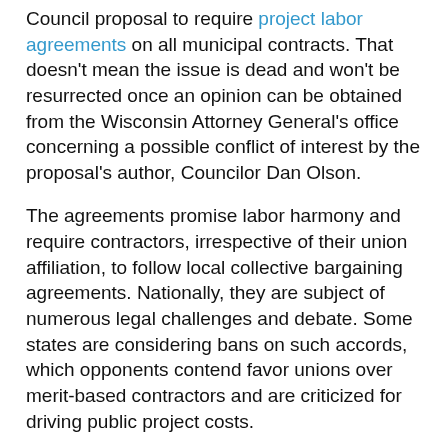Council proposal to require project labor agreements on all municipal contracts. That doesn't mean the issue is dead and won't be resurrected once an opinion can be obtained from the Wisconsin Attorney General's office concerning a possible conflict of interest by the proposal's author, Councilor Dan Olson.
The agreements promise labor harmony and require contractors, irrespective of their union affiliation, to follow local collective bargaining agreements. Nationally, they are subject of numerous legal challenges and debate. Some states are considering bans on such accords, which opponents contend favor unions over merit-based contractors and are criticized for driving public project costs.
The city submitted a letter to the Attorney General's office last week after The Daily Telegram questioned officials about the potential for a conflict of interest. Olson serves as a business manager for the Building and General Laborers Local 1091, one of 16 local construction trades unions.
Wisconsin law states, “No local public official may use his or